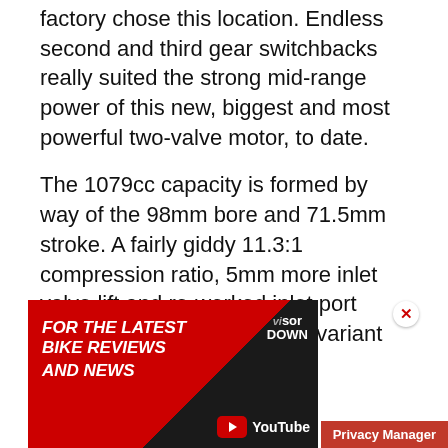factory chose this location. Endless second and third gear switchbacks really suited the strong mid-range power of this new, biggest and most powerful two-valve motor, to date.
The 1079cc capacity is formed by way of the 98mm bore and 71.5mm stroke. A fairly giddy 11.3:1 compression ratio, 5mm more inlet valve lift and re-worked inlet port throats mean that this latest variant on the thirty year-
[Figure (infographic): Advertisement banner for Visordown YouTube channel with red diagonal background, text 'FOR THE LATEST BIKE REVIEWS AND NEWS' and YouTube logo]